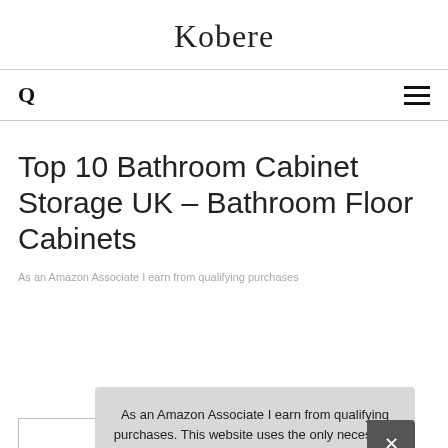Kobere
[Figure (other): Navigation bar with search icon (Q) on left and hamburger menu icon on right]
Top 10 Bathroom Cabinet Storage UK – Bathroom Floor Cabinets
As an Amazon Associate I earn from qualifying purchases
1.
As an Amazon Associate I earn from qualifying purchases. This website uses the only necessary cookies to ensure you get the best experience on our website. More information